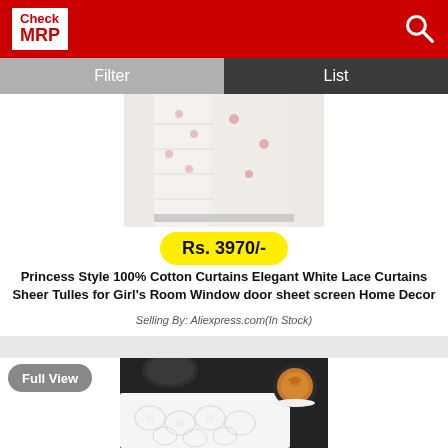Check MRP
Filter
List
[Figure (photo): White lace/sheer curtains displayed hanging]
Rs. 3970/-
Princess Style 100% Cotton Curtains Elegant White Lace Curtains Sheer Tulles for Girl's Room Window door sheet screen Home Decor
Selling By: Aliexpress.com(In Stock)
Full View
[Figure (photo): White lace fabric with floral pattern on dark tray with coffee cup]